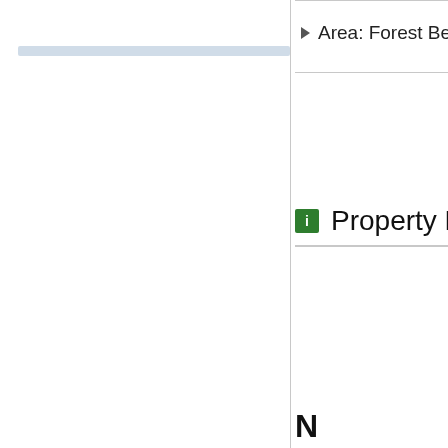Area: Forest Beach
Property Description
N
2
117 COURTISIDE is a walking distance to the sleeper sofa , sleeps u room, dining area, com
117 COURTISIDE com refrigerator, dishwash